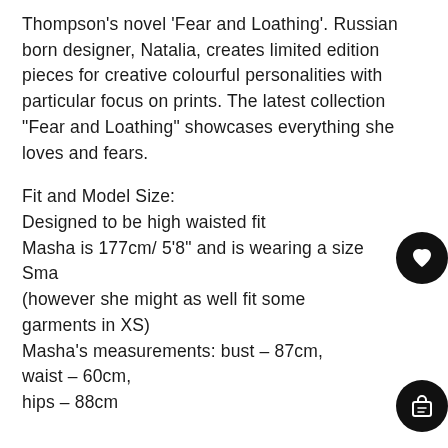Thompson's novel 'Fear and Loathing'. Russian born designer, Natalia, creates limited edition pieces for creative colourful personalities with particular focus on prints. The latest collection "Fear and Loathing" showcases everything she loves and fears.
Fit and Model Size:
Designed to be high waisted fit
Masha is 177cm/ 5'8" and is wearing a size Small (however she might as well fit some garments in XS)
Masha's measurements: bust – 87cm, waist – 60cm, hips – 88cm
Size chart:
S/M/L size / US size / Waist approx (cm) / Waist